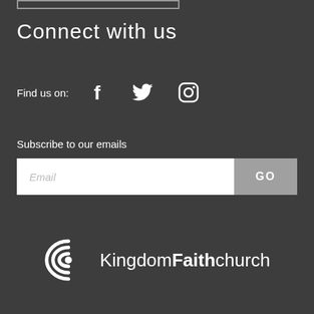Connect with us
Find us on:
[Figure (other): Social media icons: Facebook, Twitter, Instagram]
Subscribe to our emails
[Figure (other): Email input field with placeholder 'Email' and a GO button]
[Figure (logo): Kingdom Faith Church logo with concentric signal arc icon and text 'KingdomFaithchurch']